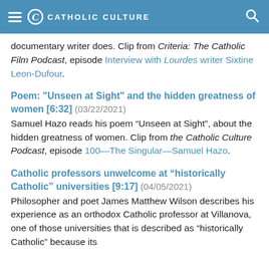CATHOLIC CULTURE
documentary writer does. Clip from Criteria: The Catholic Film Podcast, episode Interview with Lourdes writer Sixtine Leon-Dufour.
Poem: "Unseen at Sight" and the hidden greatness of women [6:32] (03/22/2021)
Samuel Hazo reads his poem “Unseen at Sight”, about the hidden greatness of women. Clip from the Catholic Culture Podcast, episode 100—The Singular—Samuel Hazo.
Catholic professors unwelcome at “historically Catholic” universities [9:17] (04/05/2021)
Philosopher and poet James Matthew Wilson describes his experience as an orthodox Catholic professor at Villanova, one of those universities that is described as “historically Catholic” because its